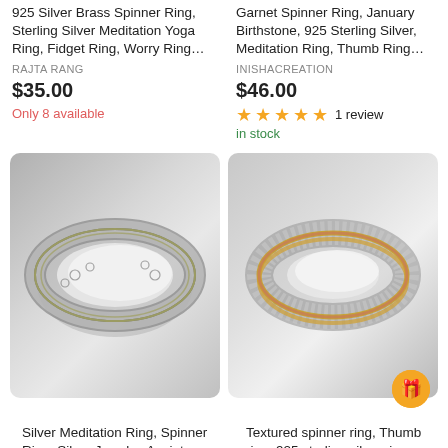925 Silver Brass Spinner Ring, Sterling Silver Meditation Yoga Ring, Fidget Ring, Worry Ring…
RAJTA RANG
$35.00
Only 8 available
Garnet Spinner Ring, January Birthstone, 925 Sterling Silver, Meditation Ring, Thumb Ring…
INISHACREATION
$46.00
★★★★★ 1 review
in stock
[Figure (photo): Silver spinner/meditation ring with ornate swirl pattern on outer band, shown at an angle on white background]
[Figure (photo): Textured spinner ring with knurled silver band and gold/rose gold inner bands, on wooden surface, with orange badge in corner]
Silver Meditation Ring, Spinner Ring, Silver Jewelry, Anxiety Worry Ring, Yoga Spinning…
Textured spinner ring, Thumb ring, 925 sterling silver ring, spinning ring, meditation rin…